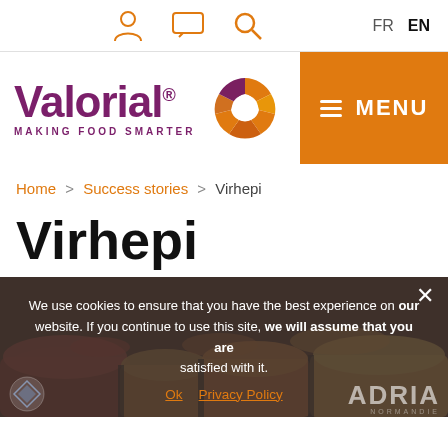FR EN navigation icons
[Figure (logo): Valorial logo with orange circular icon and tagline MAKING FOOD SMARTER, with orange MENU button on the right]
Home > Success stories > Virhepi
Virhepi
[Figure (photo): Photo of colorful spice sacks at a market]
We use cookies to ensure that you have the best experience on our website. If you continue to use this site, we will assume that you are satisfied with it.
Ok   Privacy Policy